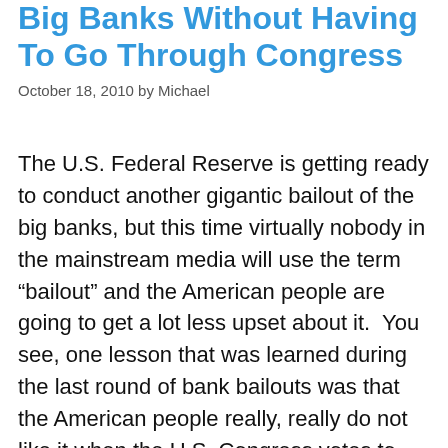Big Banks Without Having To Go Through Congress
October 18, 2010 by Michael
The U.S. Federal Reserve is getting ready to conduct another gigantic bailout of the big banks, but this time virtually nobody in the mainstream media will use the term “bailout” and the American people are going to get a lot less upset about it.  You see, one lesson that was learned during the last round of bank bailouts was that the American people really, really do not like it when the U.S. Congress votes to give money to the big banks.  So this time, the financial “powers that be” have figured out a way around that.  Instead of going through the massive headache of dealing with the U.S. Congress, the Federal Reserve is